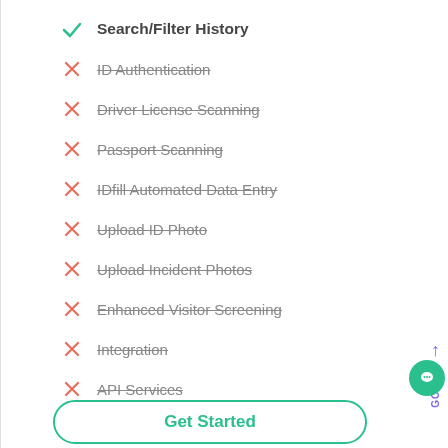Search/Filter History
ID Authentication
Driver License Scanning
Passport Scanning
IDfill Automated Data Entry
Upload ID Photo
Upload Incident Photos
Enhanced Visitor Screening
Integration
API Services
Get Started